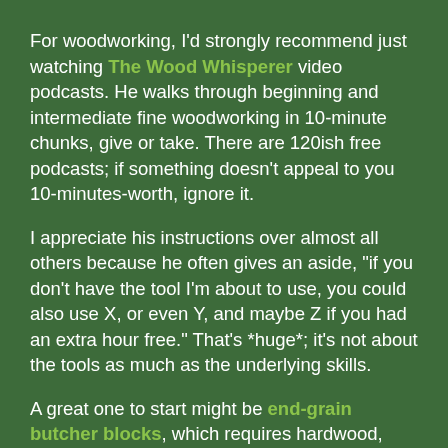For woodworking, I'd strongly recommend just watching The Wood Whisperer video podcasts. He walks through beginning and intermediate fine woodworking in 10-minute chunks, give or take. There are 120ish free podcasts; if something doesn't appeal to you 10-minutes-worth, ignore it.
I appreciate his instructions over almost all others because he often gives an aside, "if you don't have the tool I'm about to use, you could also use X, or even Y, and maybe Z if you had an extra hour free." That's *huge*; it's not about the tools as much as the underlying skills.
A great one to start might be end-grain butcher blocks, which requires hardwood, saw, glue, clamps, and sandpaper. There's an easy introduction to how lumber is sold, which explains the difference of S2S, S4S, FAS, 4/4, 8/4,